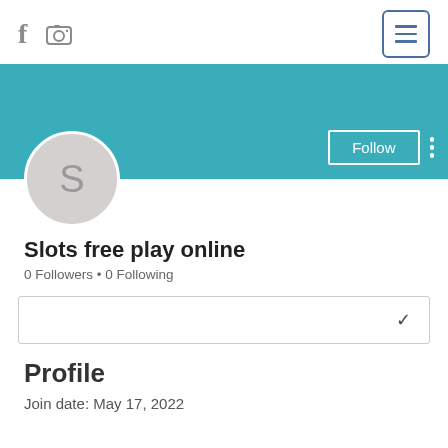[Figure (screenshot): Social media profile page screenshot showing Facebook and Instagram icons, hamburger menu button, teal banner with profile avatar showing letter S, Follow button, username Slots free play online, follower counts, a dropdown box, Profile section heading, and Join date.]
Slots free play online
0 Followers • 0 Following
Profile
Join date: May 17, 2022